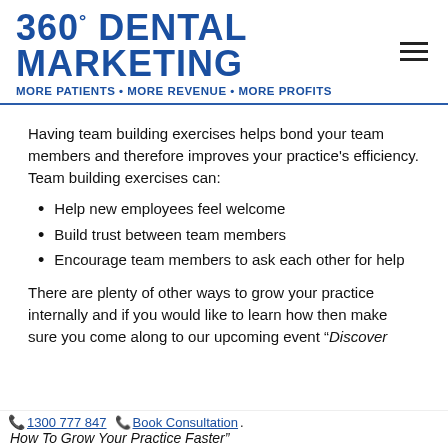360° DENTAL MARKETING MORE PATIENTS • MORE REVENUE • MORE PROFITS
Having team building exercises helps bond your team members and therefore improves your practice's efficiency. Team building exercises can:
Help new employees feel welcome
Build trust between team members
Encourage team members to ask each other for help
There are plenty of other ways to grow your practice internally and if you would like to learn how then make sure you come along to our upcoming event "Discover
1300 777 847  Book Consultation.
How To Grow Your Practice Faster"